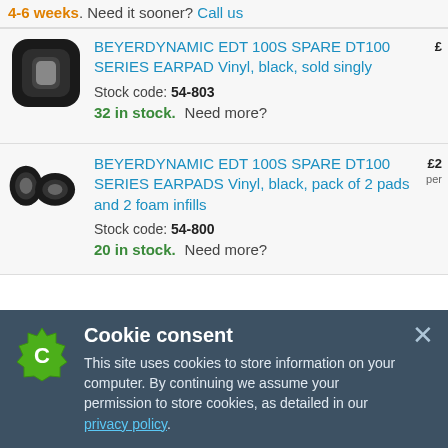4-6 weeks. Need it sooner? Call us
BEYERDYNAMIC EDT 100S SPARE DT100 SERIES EARPAD Vinyl, black, sold singly
Stock code: 54-803
32 in stock. Need more?
BEYERDYNAMIC EDT 100S SPARE DT100 SERIES EARPADS Vinyl, black, pack of 2 pads and 2 foam infills
Stock code: 54-800
20 in stock. Need more?
Cookie consent
This site uses cookies to store information on your computer. By continuing we assume your permission to store cookies, as detailed in our privacy policy.